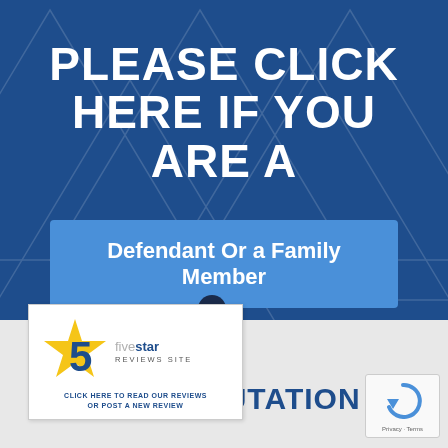PLEASE CLICK HERE IF YOU ARE A
Defendant Or a Family Member
[Figure (logo): Five Star Reviews Site widget with gold star and large blue number 5 logo, text: five star REVIEWS SITE, CLICK HERE TO READ OUR REVIEWS OR POST A NEW REVIEW]
R REPUTATION
[Figure (logo): Google reCAPTCHA widget with circular arrow icon, Privacy · Terms text]